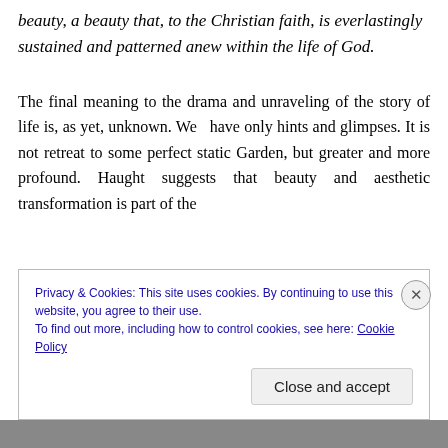beauty, a beauty that, to the Christian faith, is everlastingly sustained and patterned anew within the life of God.
The final meaning to the drama and unraveling of the story of life is, as yet, unknown. We have only hints and glimpses. It is not retreat to some perfect static Garden, but greater and more profound. Haught suggests that beauty and aesthetic transformation is part of the
Privacy & Cookies: This site uses cookies. By continuing to use this website, you agree to their use.
To find out more, including how to control cookies, see here: Cookie Policy
Close and accept